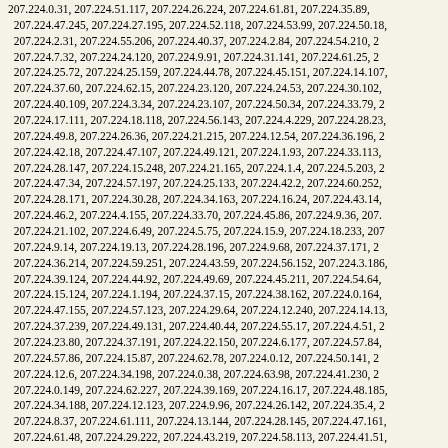207.224.0.31, 207.224.51.117, 207.224.26.224, 207.224.61.81, 207.224.35.89, 207.224.47.245, 207.224.27.195, 207.224.52.118, 207.224.53.99, 207.224.50.18, 207.224.2.31, 207.224.55.206, 207.224.40.37, 207.224.2.84, 207.224.54.210, 207.224.7.32, 207.224.24.120, 207.224.9.91, 207.224.31.141, 207.224.61.25, 207.224.25.72, 207.224.25.159, 207.224.44.78, 207.224.45.151, 207.224.14.107, 207.224.37.60, 207.224.62.15, 207.224.23.120, 207.224.24.53, 207.224.30.102, 207.224.40.109, 207.224.3.34, 207.224.23.107, 207.224.50.34, 207.224.33.79, 207.224.17.111, 207.224.18.118, 207.224.56.143, 207.224.4.229, 207.224.28.23, 207.224.49.8, 207.224.26.36, 207.224.21.215, 207.224.12.54, 207.224.36.196, 207.224.42.18, 207.224.47.107, 207.224.49.121, 207.224.1.93, 207.224.33.113, 207.224.28.147, 207.224.15.248, 207.224.21.165, 207.224.1.4, 207.224.5.203, 207.224.47.34, 207.224.57.197, 207.224.25.133, 207.224.42.2, 207.224.60.252, 207.224.28.171, 207.224.30.28, 207.224.34.163, 207.224.16.24, 207.224.43.14, 207.224.46.2, 207.224.4.155, 207.224.33.70, 207.224.45.86, 207.224.9.36, 207.224.21.102, 207.224.6.49, 207.224.5.75, 207.224.15.9, 207.224.18.233, 207.224.9.14, 207.224.19.13, 207.224.28.196, 207.224.9.68, 207.224.37.171, 207.224.36.214, 207.224.59.251, 207.224.43.59, 207.224.56.152, 207.224.3.186, 207.224.39.124, 207.224.44.92, 207.224.49.69, 207.224.45.211, 207.224.54.64, 207.224.15.124, 207.224.1.194, 207.224.37.15, 207.224.38.162, 207.224.0.164, 207.224.47.155, 207.224.57.123, 207.224.29.64, 207.224.12.240, 207.224.14.13, 207.224.37.239, 207.224.49.131, 207.224.40.44, 207.224.55.17, 207.224.4.51, 207.224.23.80, 207.224.37.191, 207.224.22.150, 207.224.6.177, 207.224.57.84, 207.224.57.86, 207.224.15.87, 207.224.62.78, 207.224.0.12, 207.224.50.141, 207.224.12.6, 207.224.34.198, 207.224.0.38, 207.224.63.98, 207.224.41.230, 207.224.0.149, 207.224.62.227, 207.224.39.169, 207.224.16.17, 207.224.48.185, 207.224.34.188, 207.224.12.123, 207.224.9.96, 207.224.26.142, 207.224.35.4, 207.224.8.37, 207.224.61.111, 207.224.13.144, 207.224.28.145, 207.224.47.161, 207.224.61.48, 207.224.29.222, 207.224.43.219, 207.224.58.113, 207.224.41.51, 207.224.31.53, 207.224.13.253, 207.224.47.123, 207.224.1.189, 207.224.0.204, 207.224.61.3, 207.224.7.50, 207.224.34.104, 207.224.13.234, 207.224.35.104, 207.224.36.139, 207.224.41.146, 207.224.12.94, 207.224.51.27, 207.224.46.226, 207.224.46.70, 207.224.41.23, 207.224.35.162, 207.224.53.18, 207.224.35.45, 207.224.59.5, 207.224.24.225, 207.224.45.99, 207.224.9.99, 207.224.13.22